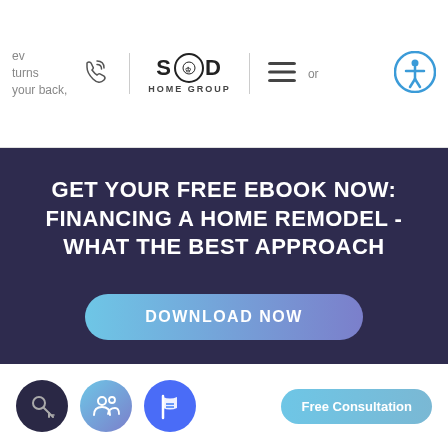[Figure (screenshot): SOD Home Group website navigation bar with phone icon, logo, hamburger menu, and accessibility icon]
GET YOUR FREE EBOOK NOW: FINANCING A HOME REMODEL - WHAT THE BEST APPROACH
[Figure (other): DOWNLOAD NOW button with gradient teal-to-purple background]
[Figure (other): Bottom navigation bar with key icon, people icon, flag icon buttons and Free Consultation pill button]